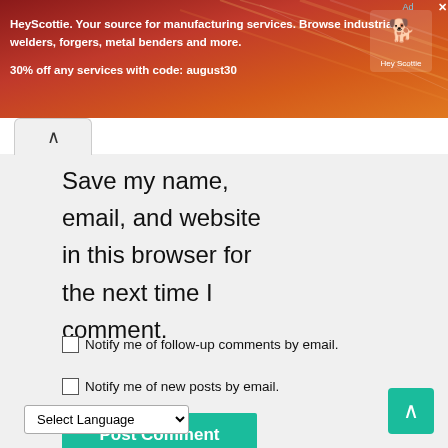[Figure (screenshot): Red advertisement banner for HeyScottie manufacturing services with diagonal light streaks background and white dog logo. Text reads: HeyScottie. Your source for manufacturing services. Browse industrial welders, forgers, metal benders and more. 30% off any services with code: august30]
Save my name, email, and website in this browser for the next time I comment.
Notify me of follow-up comments by email.
Notify me of new posts by email.
Post Comment
Select Language